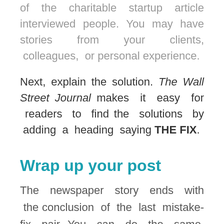of the charitable startup article interviewed people. You may have stories from your clients, colleagues, or personal experience.
Next, explain the solution. The Wall Street Journal makes it easy for readers to find the solutions by adding a heading saying THE FIX.
Wrap up your post
The newspaper story ends with the conclusion of the last mistake-fix pair. You can do the same. However, if your